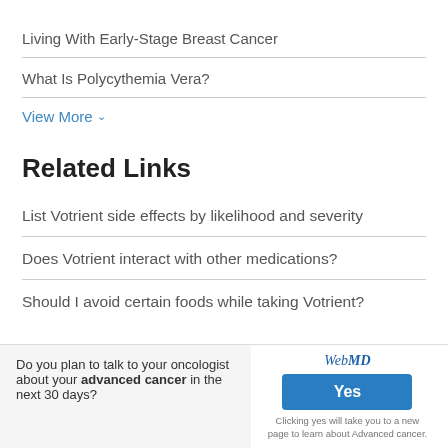Living With Early-Stage Breast Cancer
What Is Polycythemia Vera?
View More
Related Links
List Votrient side effects by likelihood and severity
Does Votrient interact with other medications?
Should I avoid certain foods while taking Votrient?
Do you plan to talk to your oncologist about your advanced cancer in the next 30 days?
WebMD Yes Clicking yes will take you to a new page to learn about Advanced cancer.